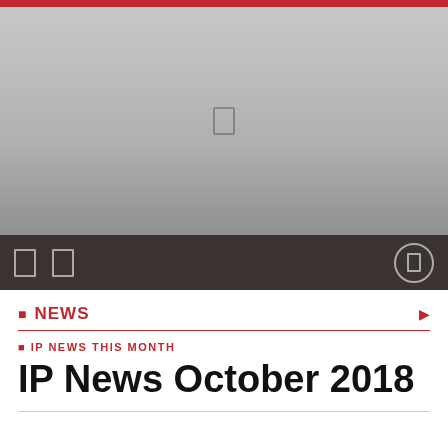[Figure (photo): Large grey placeholder image area for a news article header photo]
NEWS
IP NEWS THIS MONTH
IP News October 2018